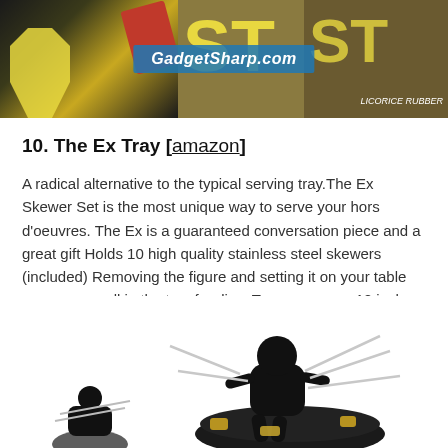[Figure (photo): Top banner image showing yellow figure erasers/toys with a red book and text overlays. A teal GadgetSharp.com watermark banner is centered across the image.]
10. The Ex Tray [amazon]
A radical alternative to the typical serving tray.The Ex Skewer Set is the most unique way to serve your hors d'oeuvres. The Ex is a guaranteed conversation piece and a great gift Holds 10 high quality stainless steel skewers (included) Removing the figure and setting it on your table exposes a well in the tray for dips. Tray measures 12 inches x 9 inches x 8 inches
[Figure (photo): Bottom portion of image showing black Ex Tray product — a black humanoid figure on a black tray/bowl with metallic skewers inserted, partially cropped at bottom of page.]